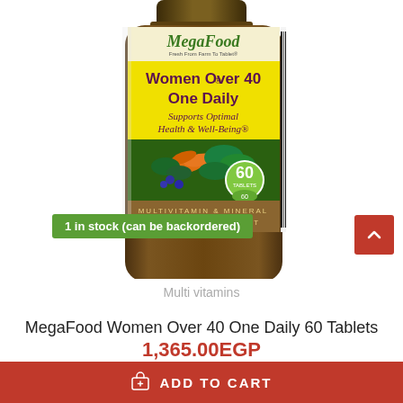[Figure (photo): MegaFood Women Over 40 One Daily multivitamin bottle with yellow label showing product name, vegetables, and 60 tablets badge]
1 in stock (can be backordered)
Multi vitamins
MegaFood Women Over 40 One Daily 60 Tablets
1,365.00EGP
ADD TO CART